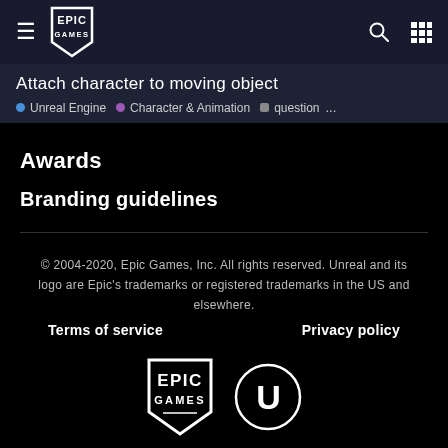Epic Games navigation bar
Attach character to moving object
Unreal Engine • Character & Animation • question ...
Awards
Branding guidelines
© 2004-2020, Epic Games, Inc. All rights reserved. Unreal and its logo are Epic's trademarks or registered trademarks in the US and elsewhere.
Terms of service
Privacy policy
[Figure (logo): Epic Games shield logo and Unreal Engine circular logo in white on black background]